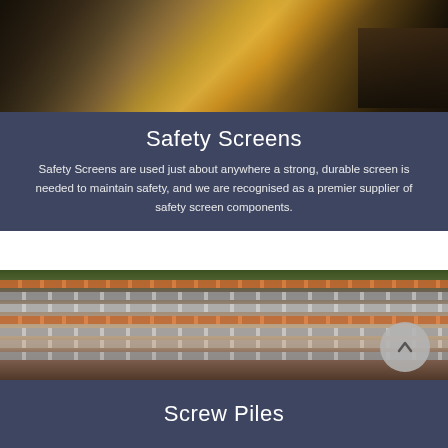[Figure (photo): Industrial manufacturing scene with sparks flying and a worker in the background, metal fabrication facility]
Safety Screens
Safety Screens are used just about anywhere a strong, durable screen is needed to maintain safety, and we are recognised as a premier supplier of safety screen components.
[Figure (photo): Stacked metal pipes/tubes in an outdoor yard with trees in background, screw piles product display]
Screw Piles